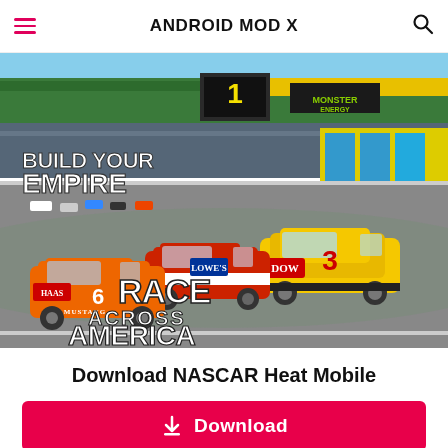ANDROID MOD X
[Figure (screenshot): NASCAR Heat Mobile game promotional screenshot showing racing cars on a track with text 'BUILD YOUR EMPIRE' and 'RACE ACROSS AMERICA' overlaid, green grandstands and Monster Energy branding visible in background]
Download NASCAR Heat Mobile
Download